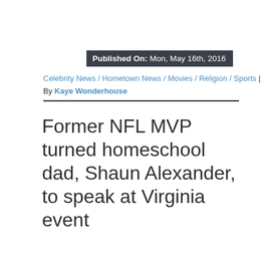Published On: Mon, May 16th, 2016
Celebrity News / Hometown News / Movies / Religion / Sports | By Kaye Wonderhouse
Former NFL MVP turned homeschool dad, Shaun Alexander, to speak at Virginia event